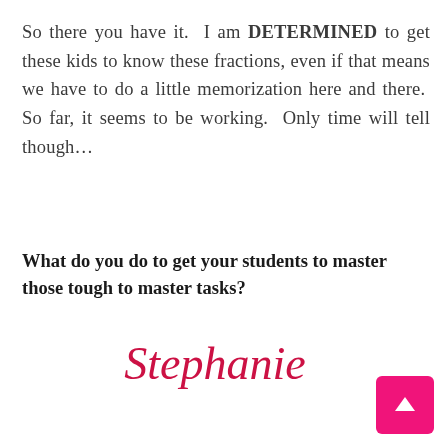So there you have it.  I am DETERMINED to get these kids to know these fractions, even if that means we have to do a little memorization here and there.  So far, it seems to be working.  Only time will tell though…
What do you do to get your students to master those tough to master tasks?
[Figure (illustration): Cursive signature reading 'Stephanie' in red/crimson italic script font]